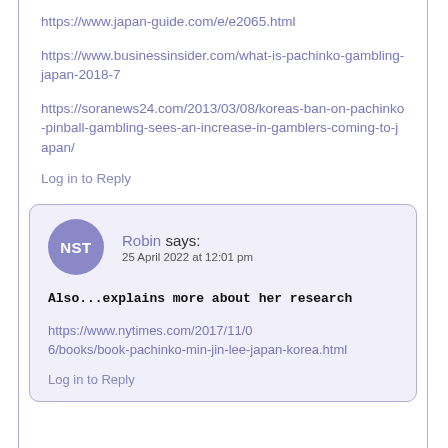https://www.japan-guide.com/e/e2065.html
https://www.businessinsider.com/what-is-pachinko-gambling-japan-2018-7
https://soranews24.com/2013/03/08/koreas-ban-on-pachinko-pinball-gambling-sees-an-increase-in-gamblers-coming-to-japan/
Log in to Reply
Robin says:
25 April 2022 at 12:01 pm
Also...explains more about her research
https://www.nytimes.com/2017/11/06/books/book-pachinko-min-jin-lee-japan-korea.html
Log in to Reply